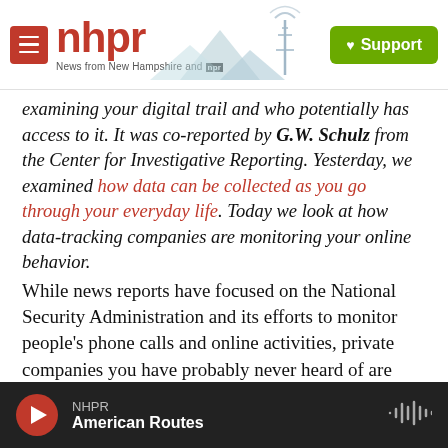NHPR – News from New Hampshire and NPR | Support
examining your digital trail and who potentially has access to it. It was co-reported by G.W. Schulz from the Center for Investigative Reporting. Yesterday, we examined how data can be collected as you go through your everyday life. Today we look at how data-tracking companies are monitoring your online behavior.
While news reports have focused on the National Security Administration and its efforts to monitor people's phone calls and online activities, private companies you have probably never heard of are also tracking what you are doing, just about
NHPR – American Routes